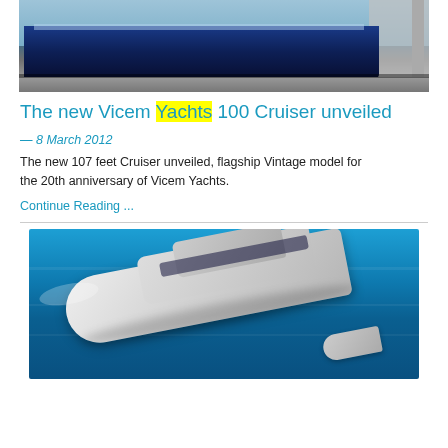[Figure (photo): A large blue yacht hull in a boatyard with scaffolding visible on the right side]
The new Vicem Yachts 100 Cruiser unveiled
— 8 March 2012
The new 107 feet Cruiser unveiled, flagship Vintage model for the 20th anniversary of Vicem Yachts.
Continue Reading ...
[Figure (photo): Aerial view of a sleek silver motor yacht cruising on turquoise blue water]